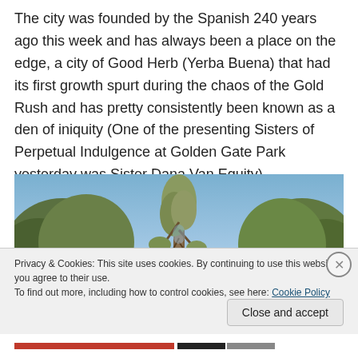The city was founded by the Spanish 240 years ago this week and has always been a place on the edge, a city of Good Herb (Yerba Buena) that had its first growth spurt during the chaos of the Gold Rush and has pretty consistently been known as a den of iniquity (One of the presenting Sisters of Perpetual Indulgence at Golden Gate Park yesterday was Sister Dana Van Equity).
[Figure (photo): Outdoor photo showing tall eucalyptus trees against a blue sky, taken from a low angle looking upward. Green foliage visible on left and right sides.]
Privacy & Cookies: This site uses cookies. By continuing to use this website, you agree to their use.
To find out more, including how to control cookies, see here: Cookie Policy